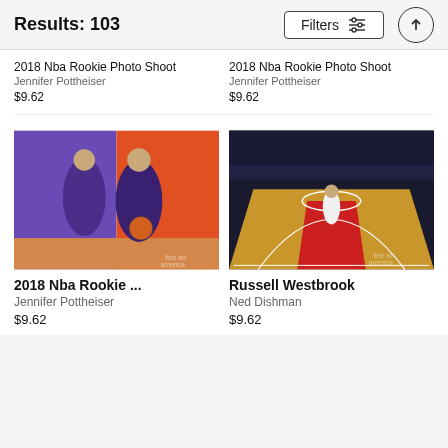Results: 103
2018 Nba Rookie Photo Shoot
Jennifer Pottheiser
$9.62
2018 Nba Rookie Photo Shoot
Jennifer Pottheiser
$9.62
[Figure (photo): Two NBA players in purple uniforms posing with basketball on purple/orange background - 2018 NBA Rookie Photo Shoot]
[Figure (photo): Russell Westbrook on basketball court during game, wide angle shot from baseline showing arena crowd]
2018 Nba Rookie ...
Jennifer Pottheiser
$9.62
Russell Westbrook
Ned Dishman
$9.62